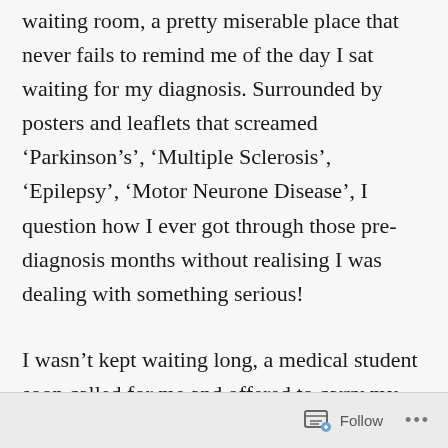waiting room, a pretty miserable place that never fails to remind me of the day I sat waiting for my diagnosis. Surrounded by posters and leaflets that screamed ‘Parkinson’s’, ‘Multiple Sclerosis’, ‘Epilepsy’, ‘Motor Neurone Disease’, I question how I ever got through those pre-diagnosis months without realising I was dealing with something serious!
I wasn’t kept waiting long, a medical student soon called for me and offered to carry my coat and bag, which I thought was rather nice. I was ushered through to meet my official
Follow ...